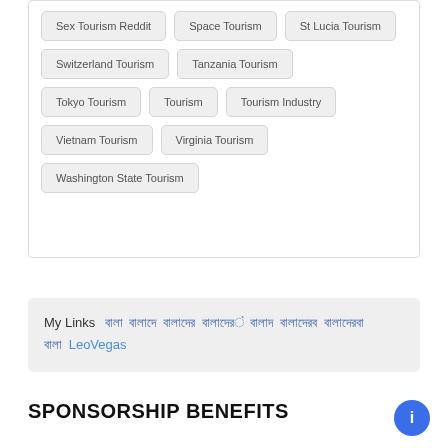Sex Tourism Reddit
Space Tourism
St Lucia Tourism
Switzerland Tourism
Tanzania Tourism
Tokyo Tourism
Tourism
Tourism Industry
Vietnam Tourism
Virginia Tourism
Washington State Tourism
My Links  [Bengali links] [Bengali links] [Bengali links] [Bengali links] [Bengali links] [Bengali links] [Bengali links] [Bengali links] LeoVegas
SPONSORSHIP BENEFITS